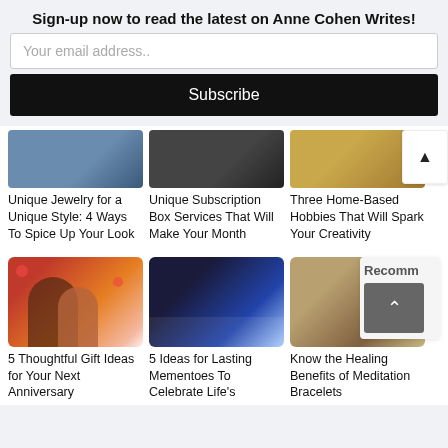Sign-up now to read the latest on Anne Cohen Writes!
Your email address..
Subscribe
[Figure (photo): Partial image of unique jewelry]
[Figure (photo): Partial image for subscription box article]
[Figure (photo): Partial image for home-based hobbies article]
Unique Jewelry for a Unique Style: 4 Ways To Spice Up Your Look
Unique Subscription Box Services That Will Make Your Month
Three Home-Based Hobbies That Will Spark Your Creativity
[Figure (photo): Couple exchanging gift, romantic setting with hearts]
[Figure (photo): Dark concert/event hall with lights]
[Figure (photo): Meditation bracelets and beads on wooden surface]
5 Thoughtful Gift Ideas for Your Next Anniversary
5 Ideas for Lasting Mementoes To Celebrate Life's
Know the Healing Benefits of Meditation Bracelets
Recomm